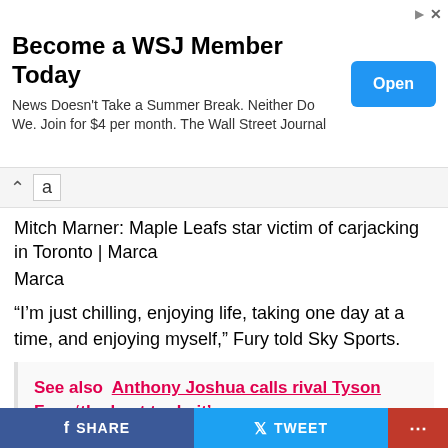[Figure (screenshot): WSJ advertisement banner: 'Become a WSJ Member Today' with 'Open' button]
Mitch Marner: Maple Leafs star victim of carjacking in Toronto | Marca
Marca
“I’m just chilling, enjoying life, taking one day at a time, and enjoying myself,” Fury told Sky Sports.
See also  Anthony Joshua calls rival Tyson Fury ‘the best to do it’
“I’m not really interested, because to be honest it doesn’t really make much sense who I want to fight at
SHARE  TWEET  ...